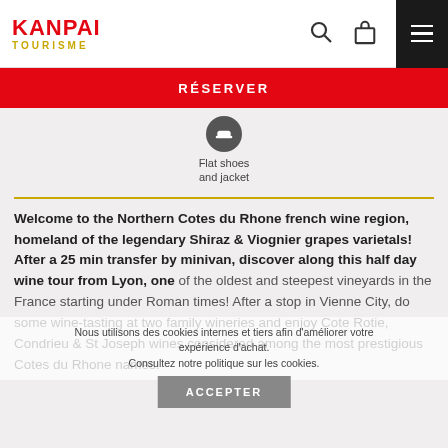KANPAI TOURISME
RÉSERVER
[Figure (illustration): Small dark circular icon with a shoe/jacket symbol, labeled 'Flat shoes and jacket']
Flat shoes and jacket
Welcome to the Northern Cotes du Rhone french wine region, homeland of the legendary Shiraz & Viognier grapes varietals! After a 25 min transfer by minivan, discover along this half day wine tour from Lyon, one of the oldest and steepest vineyards in the France starting under Roman times! After a stop in Vienne City, do some wine-tasting at two family wineries and enjoy Cote Rotie, Condrieu & St Joseph wines considered among the most prestigious Cotes du Rhone names.
Nous utilisons des cookies internes et tiers afin d'améliorer votre expérience d'achat. Consultez notre politique sur les cookies.
ACCEPTER